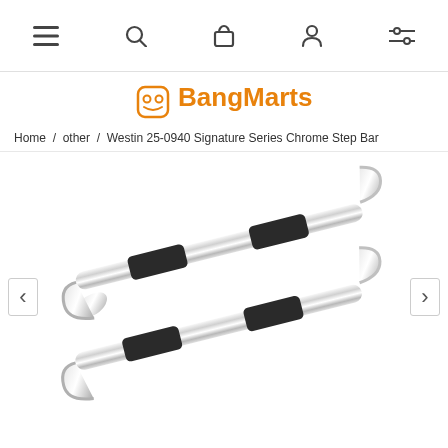navigation bar with menu, search, cart, account, and filter icons
BangMarts
Home / other / Westin 25-0940 Signature Series Chrome Step Bar
[Figure (photo): Two chrome stainless steel Westin 25-0940 Signature Series step bars with black rubber step pads, displayed diagonally on a white background.]